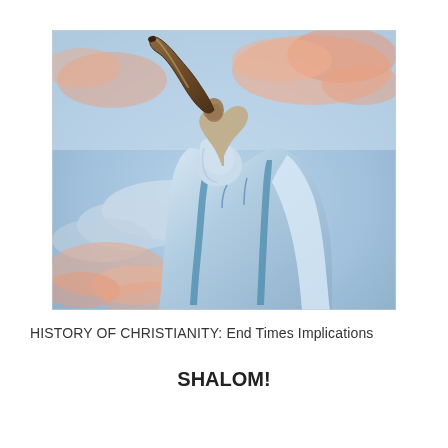[Figure (photo): A person wearing a blue and white tallit (Jewish prayer shawl) blowing a shofar (ram's horn), photographed from behind against a dramatic sky with pink and blue clouds at sunset or sunrise.]
HISTORY OF CHRISTIANITY: End Times Implications
SHALOM!